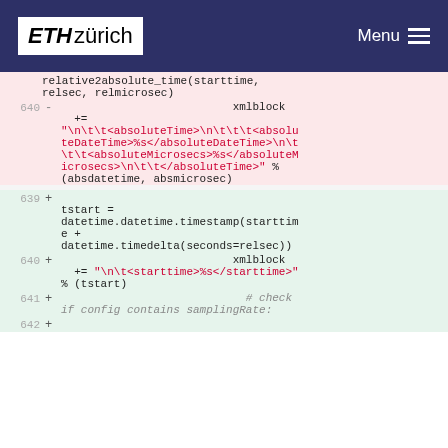ETH zürich  Menu
relative2absolute_time(starttime, relsec, relmicrosec)
640  -  xmlblock
  +=
"\n\t\t<absoluteTime>\n\t\t\t<absoluteDateTime>%s</absoluteDateTime>\n\t\t\t<absoluteMicrosecs>%s</absoluteMicrosecs>\n\t\t</absoluteTime>" % (absdatetime, absmicrosec)
639  +  tstart = datetime.datetime.timestamp(starttime + datetime.timedelta(seconds=relsec))
640  +  xmlblock += "\n\t<starttime>%s</starttime>" % (tstart)
641  +  # check if config contains samplingRate:
642  +